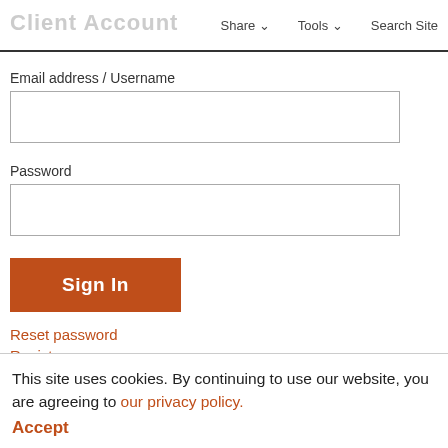Client Account  Share ∨  Tools ∨  Search Site
Email address / Username
Password
Sign In
Reset password
Register
This site uses cookies. By continuing to use our website, you are agreeing to our privacy policy. Accept